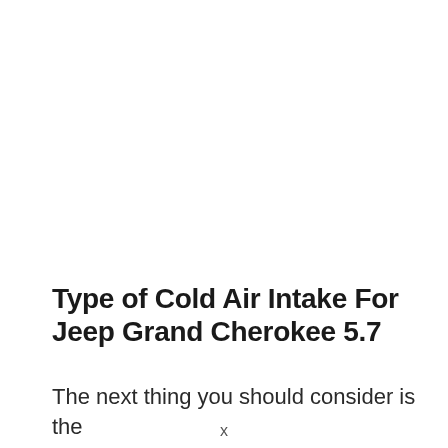Type of Cold Air Intake For Jeep Grand Cherokee 5.7
The next thing you should consider is the
x